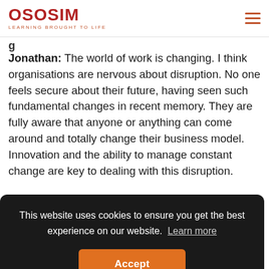OSOSIM LEARNING BROUGHT TO LIFE
Jonathan: The world of work is changing. I think organisations are nervous about disruption. No one feels secure about their future, having seen such fundamental changes in recent memory. They are fully aware that anyone or anything can come around and totally change their business model. Innovation and the ability to manage constant change are key to dealing with this disruption.
This website uses cookies to ensure you get the best experience on our website. Learn more
Accept